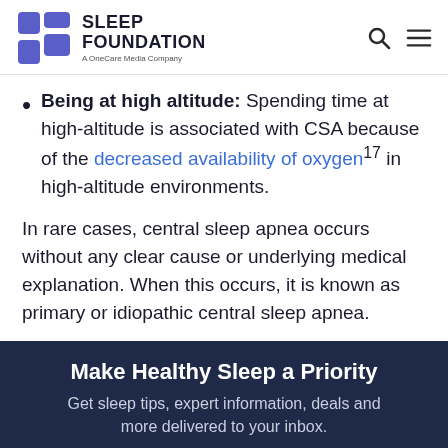SLEEP FOUNDATION — A OneCare Media Company
Being at high altitude: Spending time at high-altitude is associated with CSA because of the decreased availability of oxygen[17] in high-altitude environments.
In rare cases, central sleep apnea occurs without any clear cause or underlying medical explanation. When this occurs, it is known as primary or idiopathic central sleep apnea.
Make Healthy Sleep a Priority
Get sleep tips, expert information, deals and more delivered to your inbox.